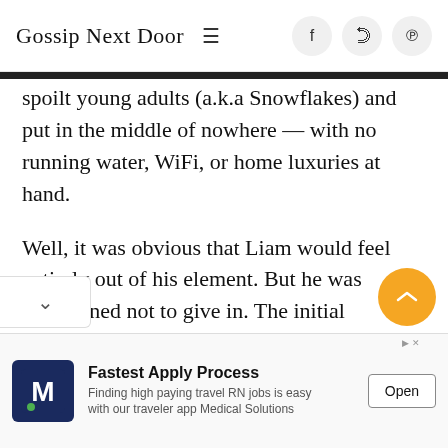Gossip Next Door
spoilt young adults (a.k.a Snowflakes) and put in the middle of nowhere — with no running water, WiFi, or home luxuries at hand.
Well, it was obvious that Liam would feel entirely out of his element. But he was determined not to give in. The initial challenges were quite tough for Liam but managed to push through his fear and over time, acknowledge what a life-changing
[Figure (screenshot): Advertisement banner: M logo for Medical Solutions, headline 'Fastest Apply Process', subtext 'Finding high paying travel RN jobs is easy with our traveler app Medical Solutions', Open button]